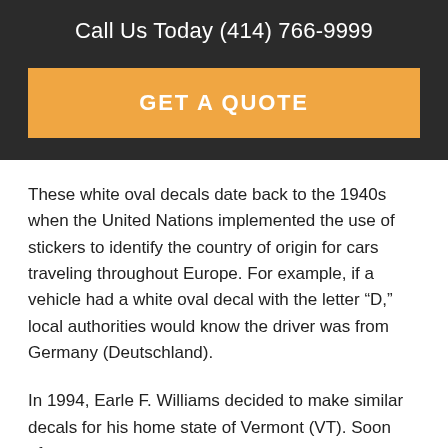Call Us Today (414) 766-9999
[Figure (other): Orange 'GET A QUOTE' button on dark background]
These white oval decals date back to the 1940s when the United Nations implemented the use of stickers to identify the country of origin for cars traveling throughout Europe. For example, if a vehicle had a white oval decal with the letter “D,” local authorities would know the driver was from Germany (Deutschland).
In 1994, Earle F. Williams decided to make similar decals for his home state of Vermont (VT). Soon after,